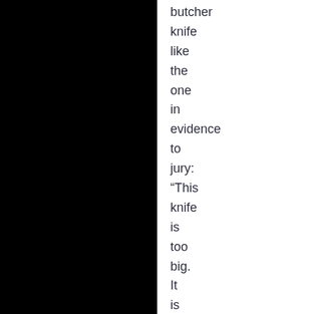butcher knife like the one in evidence to jury: “This knife is too big. It is not the murder weapon.”
10. New amanda knox